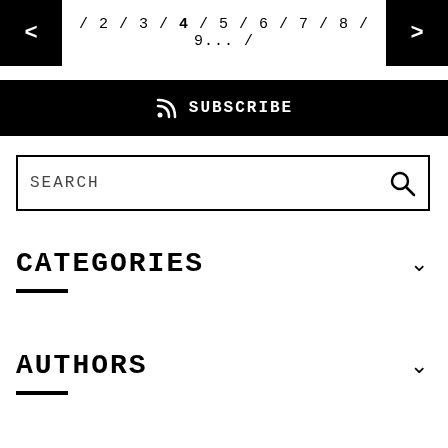< / 2 / 3 / 4 / 5 / 6 / 7 / 8 / 9... / >
SUBSCRIBE
SEARCH
CATEGORIES
AUTHORS